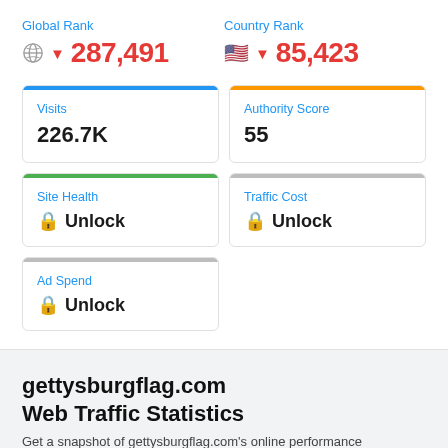Global Rank
▼ 287,491
Country Rank
▼ 85,423
Visits
226.7K
Authority Score
55
Site Health
🔒 Unlock
Traffic Cost
🔒 Unlock
Ad Spend
🔒 Unlock
gettysburgflag.com
Web Traffic Statistics
Get a snapshot of gettysburgflag.com's online performance